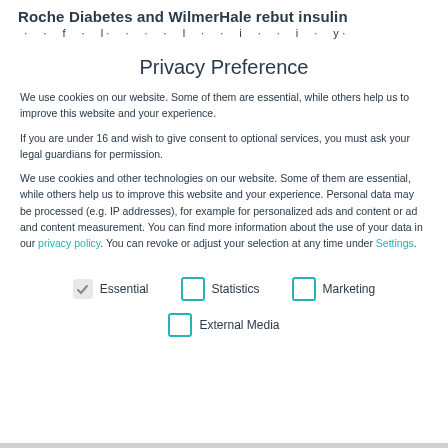Roche Diabetes and WilmerHale rebut insulin
· · f · l· · · · l · · i · · i · y·
Privacy Preference
We use cookies on our website. Some of them are essential, while others help us to improve this website and your experience.
If you are under 16 and wish to give consent to optional services, you must ask your legal guardians for permission.
We use cookies and other technologies on our website. Some of them are essential, while others help us to improve this website and your experience. Personal data may be processed (e.g. IP addresses), for example for personalized ads and content or ad and content measurement. You can find more information about the use of your data in our privacy policy. You can revoke or adjust your selection at any time under Settings.
Essential (checked)
Statistics (unchecked)
Marketing (unchecked)
External Media (unchecked)